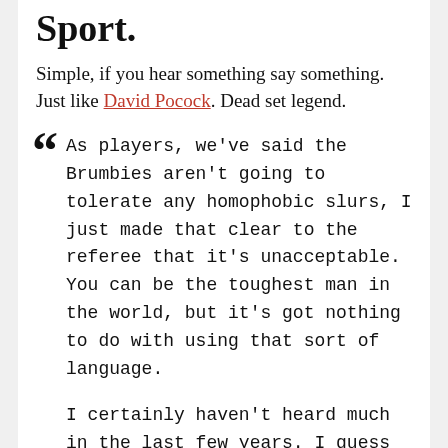Sport.
Simple, if you hear something say something. Just like David Pocock. Dead set legend.
"As players, we've said the Brumbies aren't going to tolerate any homophobic slurs, I just made that clear to the referee that it's unacceptable. You can be the toughest man in the world, but it's got nothing to do with using that sort of language.
I certainly haven't heard much in the last few years. I guess in the last year or two Australian rugby has started to address, and